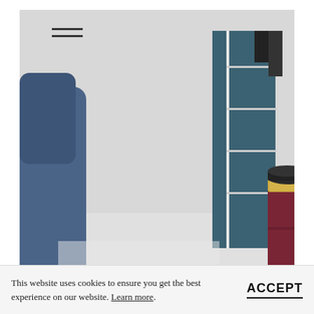[Figure (photo): Interior design product photo showing two dark burgundy/wine-colored leather cylindrical containers with scalloped/lobed bases on a white surface. The smaller one has a brass/gold metallic ring near the top. A blue upholstered chair is visible on the left and a dark teal partition/shelving unit on the right. A hamburger menu icon is visible in the upper-left corner of the photo.]
SEPTEMBER 08 2017
This website uses cookies to ensure you get the best experience on our website. Learn more.
ACCEPT